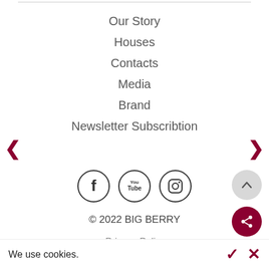Our Story
Houses
Contacts
Media
Brand
Newsletter Subscribtion
[Figure (logo): Facebook, YouTube, and Instagram social media icons in circular outlines]
© 2022 BIG BERRY
Privacy Policy
We use cookies.